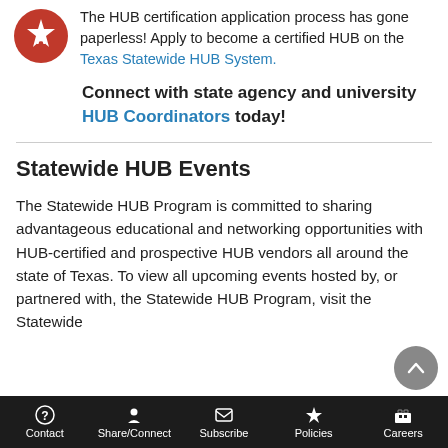[Figure (logo): Red circular logo with white letter A and star, Texas state agency logo]
The HUB certification application process has gone paperless! Apply to become a certified HUB on the Texas Statewide HUB System.
Connect with state agency and university HUB Coordinators today!
Statewide HUB Events
The Statewide HUB Program is committed to sharing advantageous educational and networking opportunities with HUB-certified and prospective HUB vendors all around the state of Texas. To view all upcoming events hosted by, or partnered with, the Statewide HUB Program, visit the Statewide
Contact | Share/Connect | Subscribe | Policies | Careers